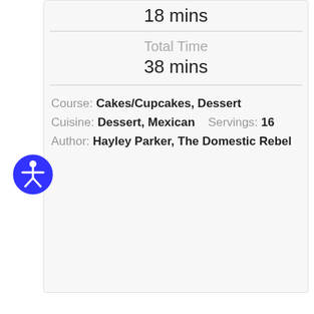18 mins
Total Time
38 mins
Course: Cakes/Cupcakes, Dessert
Cuisine: Dessert, Mexican    Servings: 16
Author: Hayley Parker, The Domestic Rebel
[Figure (illustration): Blue circle accessibility icon with a person figure (universal accessibility symbol)]